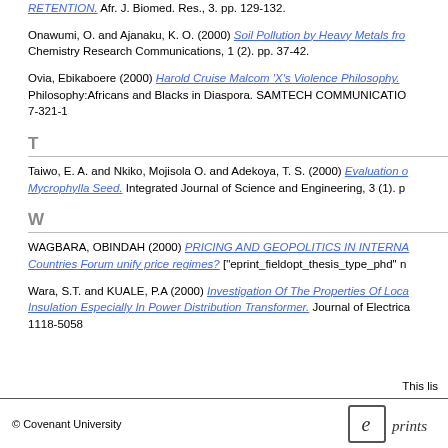RETENTION. Afr. J. Biomed. Res., 3. pp. 129-132.
Onawumi, O. and Ajanaku, K. O. (2000) Soil Pollution by Heavy Metals fro... Chemistry Research Communications, 1 (2). pp. 37-42.
Ovia, Ebikaboere (2000) Harold Cruise Malcom 'X's Violence Philosophy. Philosophy:Africans and Blacks in Diaspora. SAMTECH COMMUNICATIO... 7-321-1
T
Taiwo, E. A. and Nkiko, Mojisola O. and Adekoya, T. S. (2000) Evaluation o... Mycrophylla Seed. Integrated Journal of Science and Engineering, 3 (1). p...
W
WAGBARA, OBINDAH (2000) PRICING AND GEOPOLITICS IN INTERNA... Countries Forum unify price regimes? ["eprint_fieldopt_thesis_type_phd" n...
Wara, S.T. and KUALE, P.A (2000) Investigation Of The Properties Of Loca... Insulation Especially In Power Distribution Transformer. Journal of Electrica... 1118-5058
This lis
© Covenant University